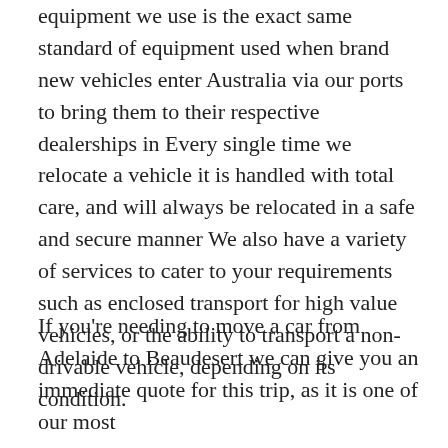equipment we use is the exact same standard of equipment used when brand new vehicles enter Australia via our ports to bring them to their respective dealerships in Every single time we relocate a vehicle it is handled with total care, and will always be relocated in a safe and secure manner We also have a variety of services to cater to your requirements such as enclosed transport for high value vehicles, or the ability to transport a non-drivable vehicle, depending on its condition.
If you're needing to move a car from Adelaide to Beaudesert we can give you an immediate quote for this trip, as it is one of our most